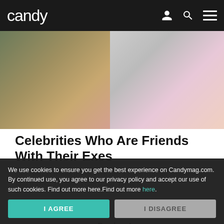candy
[Figure (photo): Two photo thumbnails side by side: left shows people outdoors in casual clothes, right shows a black-and-white image of a person in a skirt with colorful balloon-like objects]
Celebrities Who Are Friends With Their Exes
Two exes can remain friends even after a failed romantic relationship, Julia Barretto and Joshua Garcia and  Taylor S...
Candy Mag
Read on App
[Figure (photo): Partial image of hands/person below the article card]
We use cookies to ensure you get the best experience on Candymag.com. By continued use, you agree to our privacy policy and accept our use of such cookies. Find out more here.Find out more here.
I AGREE
I DISAGREE